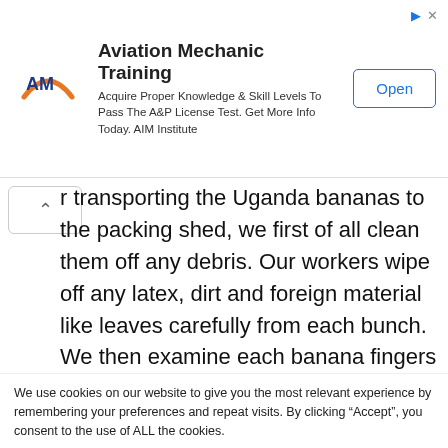[Figure (other): Advertisement banner for Aviation Mechanic Training by AIM Institute. Shows AM logo, title 'Aviation Mechanic Training', body text 'Acquire Proper Knowledge & Skill Levels To Pass The A&P License Test. Get More Info Today. AIM Institute', and an 'Open' button.]
r transporting the Uganda bananas to the packing shed, we first of all clean them off any debris. Our workers wipe off any latex, dirt and foreign material like leaves carefully from each bunch. We then examine each banana fingers and then sort the hands into grades based on quality,
We use cookies on our website to give you the most relevant experience by remembering your preferences and repeat visits. By clicking “Accept”, you consent to the use of ALL the cookies.
Do not sell my personal information.